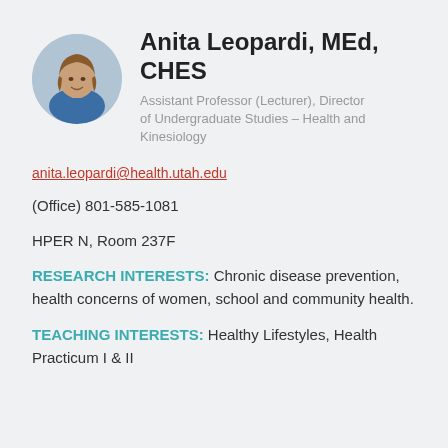Anita Leopardi, MEd, CHES
Assistant Professor (Lecturer), Director of Undergraduate Studies – Health and Kinesiology
anita.leopardi@health.utah.edu
(Office) 801-585-1081
HPER N, Room 237F
RESEARCH INTERESTS: Chronic disease prevention, health concerns of women, school and community health.
TEACHING INTERESTS: Healthy Lifestyles, Health Practicum I & II